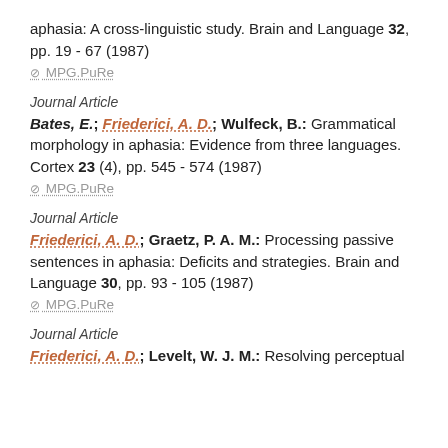aphasia: A cross-linguistic study. Brain and Language 32, pp. 19 - 67 (1987)
⊘ MPG.PuRe
Journal Article
Bates, E.; Friederici, A. D.; Wulfeck, B.: Grammatical morphology in aphasia: Evidence from three languages. Cortex 23 (4), pp. 545 - 574 (1987)
⊘ MPG.PuRe
Journal Article
Friederici, A. D.; Graetz, P. A. M.: Processing passive sentences in aphasia: Deficits and strategies. Brain and Language 30, pp. 93 - 105 (1987)
⊘ MPG.PuRe
Journal Article
Friederici, A. D.; Levelt, W. J. M.: Resolving perceptual